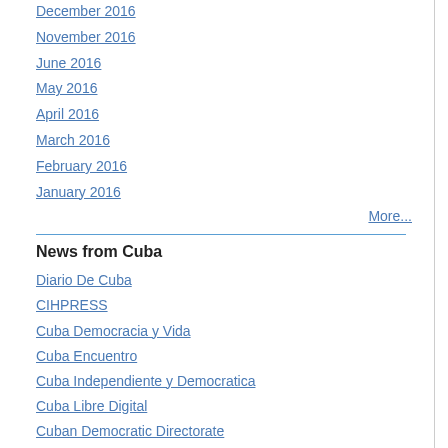December 2016
November 2016
June 2016
May 2016
April 2016
March 2016
February 2016
January 2016
More...
News from Cuba
Diario De Cuba
CIHPRESS
Cuba Democracia y Vida
Cuba Encuentro
Cuba Independiente y Democratica
Cuba Libre Digital
Cuban Democratic Directorate
CubaNet
Martí Noticias
Miami Herald
Misceláneas de Cuba
Payo Libre
Tags: Cuba, Cuban political prisoners, Juan Car...
Tweet
July 30, 2008
Hunger-striking Cuban condition
[Figure (photo): A man in a white t-shirt making a peace/victory sign with his hand, photographed against a dark background.]